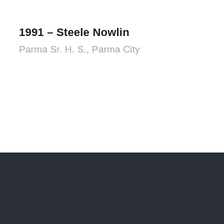1991 – Steele Nowlin
Parma Sr. H. S., Parma City
Our Mission